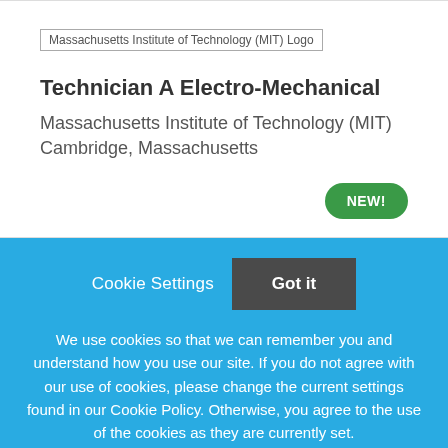[Figure (logo): Massachusetts Institute of Technology (MIT) Logo]
Technician A Electro-Mechanical
Massachusetts Institute of Technology (MIT)
Cambridge, Massachusetts
NEW!
Cookie Settings   Got it
We use cookies so that we can remember you and understand how you use our site. If you do not agree with our use of cookies, please change the current settings found in our Cookie Policy. Otherwise, you agree to the use of the cookies as they are currently set.